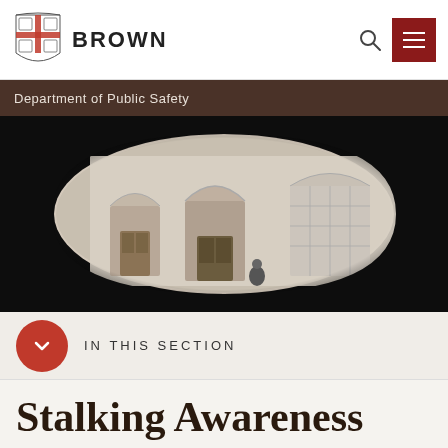BROWN — Department of Public Safety
[Figure (photo): Surveillance/peephole view of a classical building exterior with arched doorways and windows, vignette effect creating oval view in dark surround]
IN THIS SECTION
Stalking Awareness